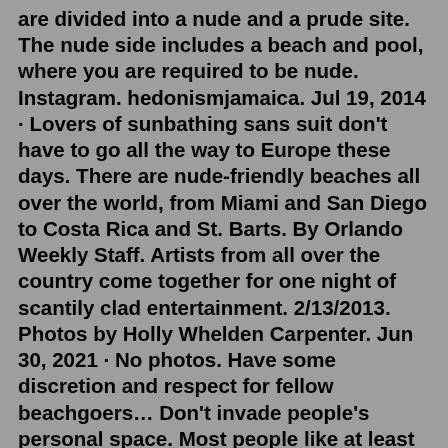are divided into a nude and a prude site. The nude side includes a beach and pool, where you are required to be nude. Instagram. hedonismjamaica. Jul 19, 2014 · Lovers of sunbathing sans suit don't have to go all the way to Europe these days. There are nude-friendly beaches all over the world, from Miami and San Diego to Costa Rica and St. Barts. By Orlando Weekly Staff. Artists from all over the country come together for one night of scantily clad entertainment. 2/13/2013. Photos by Holly Whelden Carpenter. Jun 30, 2021 · No photos. Have some discretion and respect for fellow beachgoers… Don't invade people's personal space. Most people like at least 3 feet of space on any beach, but it's even more advocated among nudists… Bring plenty of sunblock. Absolutely vital… Don't stare. It's rude… and, on a nude beach, creepy.. Beautifully flanked between the Atlantic Ocean and Biscayne Bay, in Miami Beach, Haulover Beach is one of the most popular nude beaches in the United States and is often considered